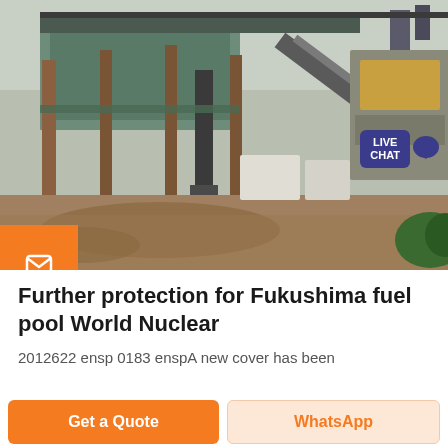[Figure (photo): Industrial facility showing flooded area with large machinery, conveyor belts, metal structures and muddy water on the ground. Likely a mining or processing plant.]
Further protection for Fukushima fuel pool World Nuclear
2012622 ensp 0183 enspA new cover has been